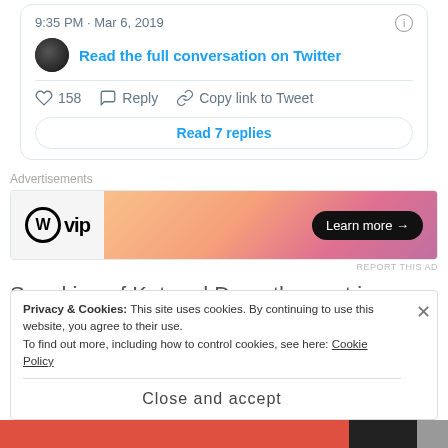9:35 PM · Mar 6, 2019
Read the full conversation on Twitter
158  Reply  Copy link to Tweet
Read 7 replies
[Figure (screenshot): WP VIP advertisement banner with orange/pink gradient and Learn more button]
Advertisements
REPORT THIS AD
Speaking of Kat and Dom, they got in on the billboard action in Times Square last night with a couple of
Privacy & Cookies: This site uses cookies. By continuing to use this website, you agree to their use.
To find out more, including how to control cookies, see here: Cookie Policy
Close and accept